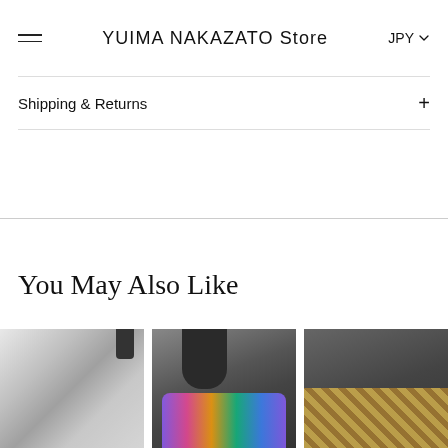YUIMA NAKAZATO Store  JPY
Shipping & Returns
You May Also Like
[Figure (photo): Close-up product photo of silky grey/white fabric with dark accent element]
[Figure (photo): Close-up product photo on dark grey background, featuring a shoe with colorful multicolor glitter/sequin detailing]
[Figure (photo): Partial product photo on dark grey background with animal print pattern shoe, cropped at right edge]